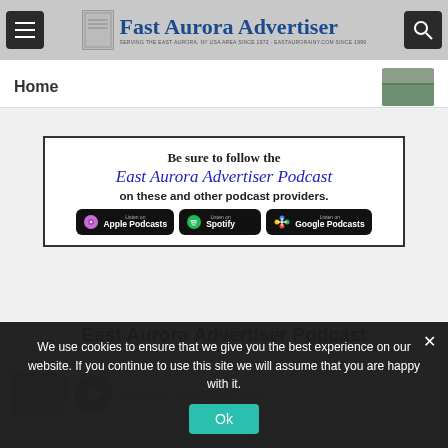Fast Aurora Advertiser — SERVING THE EAST AURORA, NY USA AREA SINCE 1972 · EASTAURORAINY.COM SINCE 1999
Home
[Figure (infographic): Podcast advertisement banner: 'Be sure to follow the East Aurora Advertiser Podcast on these and other podcast providers.' with Apple Podcasts, Spotify, and Google Podcasts badges]
East Aurora Advertiser Podcast
Neighbor to Neighbor News
We use cookies to ensure that we give you the best experience on our website. If you continue to use this site we will assume that you are happy with it.